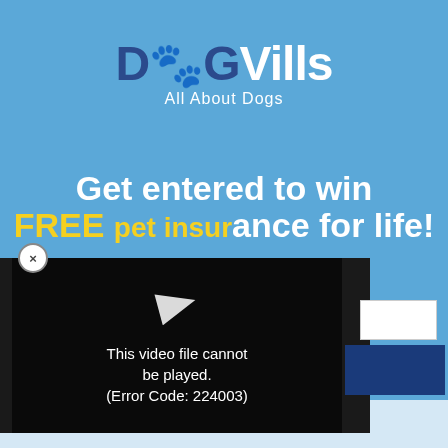[Figure (logo): DogVills logo with paw print replacing the 'o', with tagline 'All About Dogs']
Get entered to win FREE pet insurance for life!
[Figure (screenshot): Video player error overlay showing play icon and error message: 'This video file cannot be played. (Error Code: 224003)']